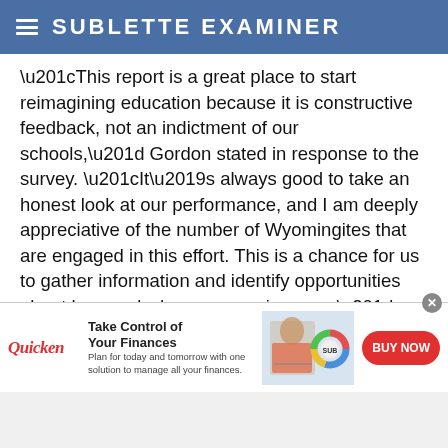SUBLETTE EXAMINER
“This report is a great place to start reimagining education because it is constructive feedback, not an indictment of our schools,” Gordon stated in response to the survey. “It’s always good to take an honest look at our performance, and I am deeply appreciative of the number of Wyomingites that are engaged in this effort. This is a chance for us to gather information and identify opportunities about how and where we can improve.”
Farmer believes these results are not cause for public alarm, and, rather, a guide for
[Figure (infographic): Quicken advertisement banner: 'Take Control of Your Finances' with a woman at a laptop, a donut chart graphic, and a red BUY NOW button]